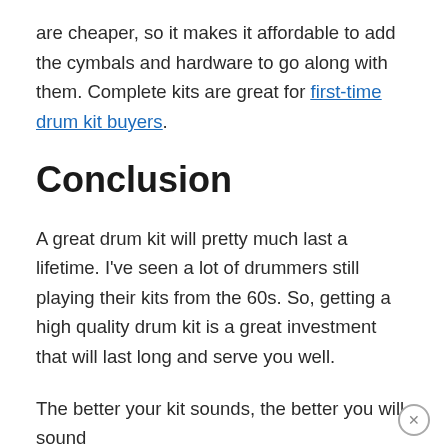are cheaper, so it makes it affordable to add the cymbals and hardware to go along with them. Complete kits are great for first-time drum kit buyers.
Conclusion
A great drum kit will pretty much last a lifetime. I've seen a lot of drummers still playing their kits from the 60s. So, getting a high quality drum kit is a great investment that will last long and serve you well.
The better your kit sounds, the better you will sound as a drummer. Just remember that the best drummers